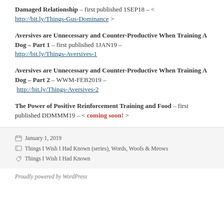Damaged Relationship – first published 1SEP18 – < http://bit.ly/Things-Gus-Dominance >
Aversives are Unnecessary and Counter-Productive When Training A Dog – Part 1 – first published 1JAN19 – http://bit.ly/Things-Aversives-1
Aversives are Unnecessary and Counter-Productive When Training A Dog – Part 2 – WWM-FEB2019 – http://bit.ly/Things-Aversives-2
The Power of Positive Reinforcement Training and Food – first published DDMMM19 – < coming soon! >
Posted January 1, 2019  Categories Things I Wish I Had Known (series), Words, Woofs & Meows  Tags Things I Wish I Had Known
Proudly powered by WordPress